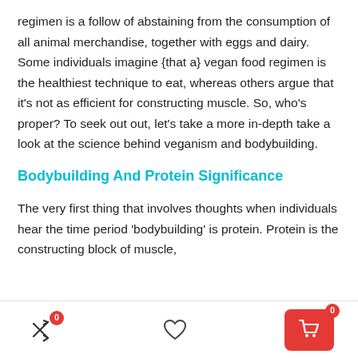regimen is a follow of abstaining from the consumption of all animal merchandise, together with eggs and dairy. Some individuals imagine {that a} vegan food regimen is the healthiest technique to eat, whereas others argue that it's not as efficient for constructing muscle. So, who's proper? To seek out out, let's take a more in-depth take a look at the science behind veganism and bodybuilding.
Bodybuilding And Protein Significance
The very first thing that involves thoughts when individuals hear the time period 'bodybuilding' is protein. Protein is the constructing block of muscle,